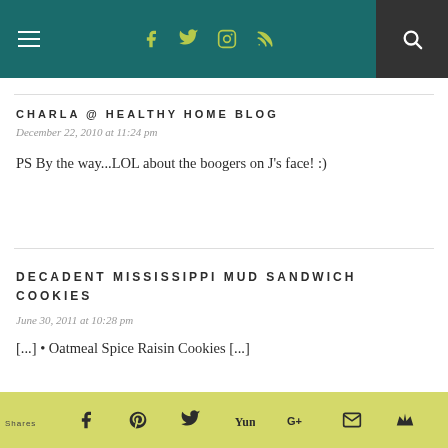Navigation bar with menu, social icons, and search
CHARLA @ HEALTHY HOME BLOG
December 22, 2010 at 11:24 pm
PS By the way...LOL about the boogers on J's face! :)
DECADENT MISSISSIPPI MUD SANDWICH COOKIES
June 30, 2011 at 10:28 pm
[...] • Oatmeal Spice Raisin Cookies [...]
Shares — social share icons: Facebook, Pinterest, Twitter, Yummly, Google+, Email, Crown